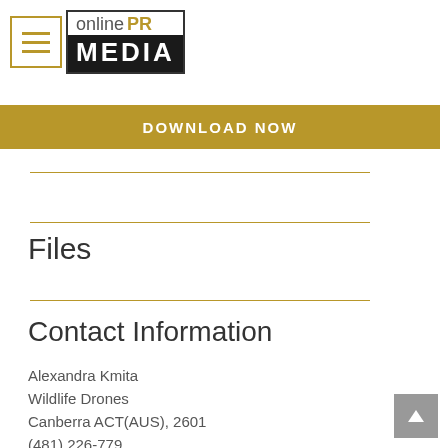[Figure (logo): Online PR Media logo with hamburger menu icon on left and logo text on right showing 'online PR' on top row and 'MEDIA' on black background bar below]
[Figure (other): Gold/yellow 'DOWNLOAD NOW' button bar]
Files
Contact Information
Alexandra Kmita
Wildlife Drones
Canberra ACT(AUS), 2601
(481) 226-779